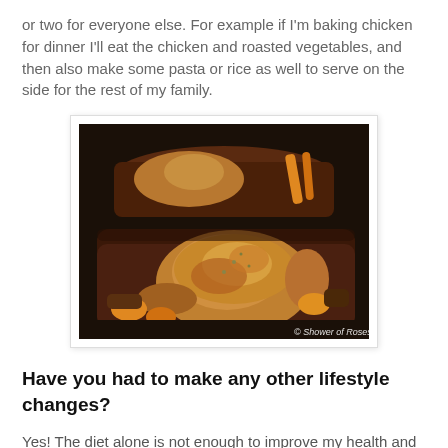or two for everyone else. For example if I'm baking chicken for dinner I'll eat the chicken and roasted vegetables, and then also make some pasta or rice as well to serve on the side for the rest of my family.
[Figure (photo): Roasted whole chicken with vegetables (carrots, potatoes) in a brown baking dish. A second baking dish visible in the background. Watermark reads '© Shower of Roses'.]
Have you had to make any other lifestyle changes?
Yes! The diet alone is not enough to improve my health and stimulate weight loss. Sleep and stress management have